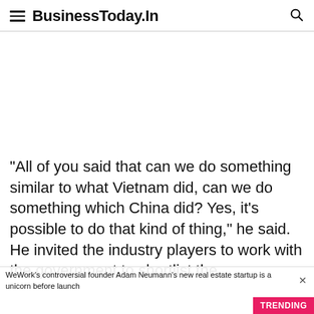BusinessToday.In
"All of you said that can we do something similar to what Vietnam did, can we do something which China did? Yes, it's possible to do that kind of thing," he said. He invited the industry players to work with the government to shortlist the
WeWork's controversial founder Adam Neumann's new real estate startup is a unicorn before launch
TRENDING